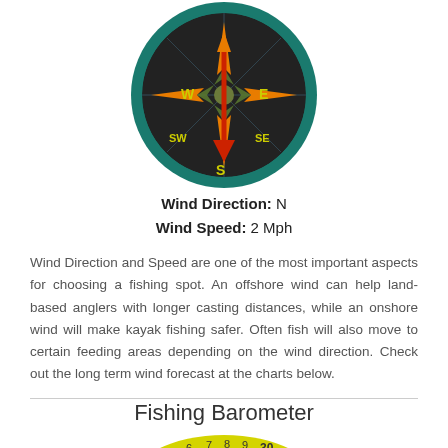[Figure (other): Compass rose showing wind direction. Large circular compass with teal border, dark background, orange/green star center, yellow W/E/SW/SE/S labels, red arrow pointing south-southwest.]
Wind Direction:  N
Wind Speed:  2 Mph
Wind Direction and Speed are one of the most important aspects for choosing a fishing spot. An offshore wind can help land-based anglers with longer casting distances, while an onshore wind will make kayak fishing safer. Often fish will also move to certain feeding areas depending on the wind direction. Check out the long term wind forecast at the charts below.
Fishing Barometer
[Figure (other): Partial view of a fishing barometer gauge (yellow semicircle) with numbers 4 5 6 7 8 9 30 visible along the scale.]